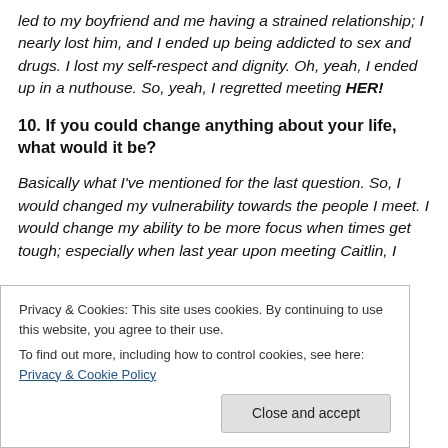led to my boyfriend and me having a strained relationship; I nearly lost him, and I ended up being addicted to sex and drugs. I lost my self-respect and dignity. Oh, yeah, I ended up in a nuthouse. So, yeah, I regretted meeting HER!
10. If you could change anything about your life, what would it be?
Basically what I've mentioned for the last question. So, I would changed my vulnerability towards the people I meet. I would change my ability to be more focus when times get tough; especially when last year upon meeting Caitlin, I
Privacy & Cookies: This site uses cookies. By continuing to use this website, you agree to their use.
To find out more, including how to control cookies, see here: Privacy & Cookie Policy